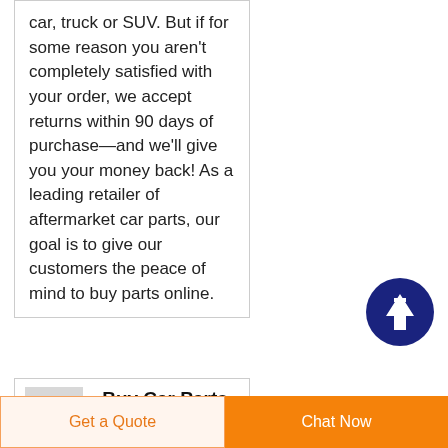car, truck or SUV. But if for some reason you aren't completely satisfied with your order, we accept returns within 90 days of purchase—and we'll give you your money back! As a leading retailer of aftermarket car parts, our goal is to give our customers the peace of mind to buy parts online.
[Figure (illustration): Dark blue circle with white upward arrow icon — scroll to top button]
[Figure (photo): Small thumbnail image of car parts]
Buy Car Parts and Accessories
OnlineOdiggo Saudi
Get a Quote
Chat Now